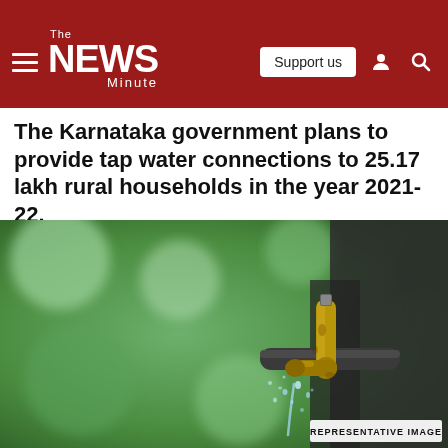The NEWS Minute — Support us
The Karnataka government plans to provide tap water connections to 25.17 lakh rural households in the year 2021-22.
[Figure (photo): Close-up photo of a rusty brass tap/faucet with water dripping from it, set against a blurred green outdoor background. A label reads 'REPRESENTATIVE IMAGE' in the bottom right corner.]